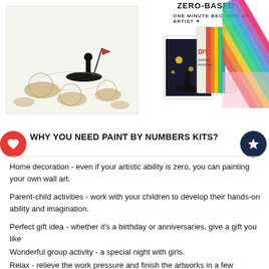[Figure (illustration): Ink painting artwork showing a person on a boat with lotus leaves in a calm water scene, black and white/sepia style]
ZERO-BASED
ONE MINUTE BECOMES AN ARTIST
[Figure (illustration): DIY paint by numbers kit product image showing canvas with dark night scene and bokeh lights, next to a DIY labeled box with colorful paint strips]
[Figure (illustration): Colorful rainbow diagonal stripe decorative element in top right corner]
WHY YOU NEED PAINT BY NUMBERS KITS?
Home decoration - even if your artistic ability is zero, you can painting your own wall art.
Parent-child activities - work with your children to develop their hands-on ability and imagination.
Perfect gift idea - whether it's a birthday or anniversaries, give a gift you like
Wonderful group activity - a special night with girls.
Relax - relieve the work pressure and finish the artworks in a few